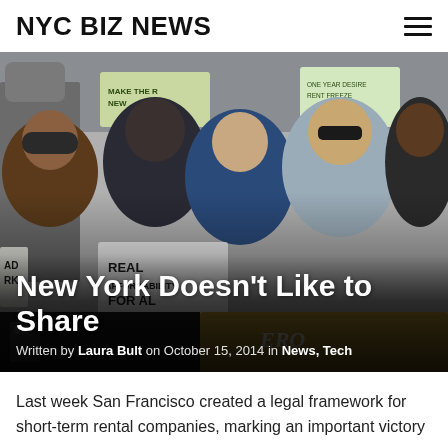NYC BIZ NEWS
[Figure (photo): Outdoor protest scene with a crowd of people holding signs including one that reads 'REAL AFFORDABILITY FOR ALL' and another partially visible sign 'MAKE THE R NEW'. People are dressed in winter clothing.]
New York Doesn’t Like to Share
Written by Laura Bult on October 15, 2014 in News, Tech
Last week San Francisco created a legal framework for short-term rental companies, marking an important victory